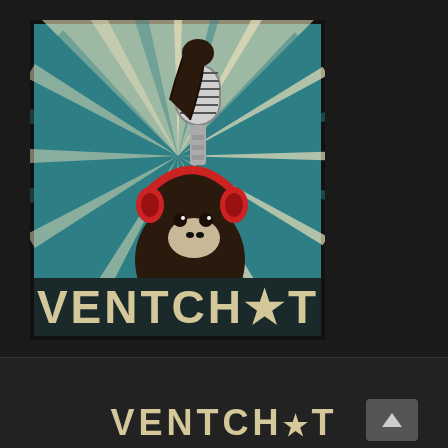[Figure (logo): VentChat podcast logo: a chimpanzee wearing red headphones, raising its fist holding a vintage microphone, on a teal sunburst background. The word VENTCHAT appears in distressed block letters at the bottom of the logo square.]
VENTCHAT
[Figure (logo): Small partial view of VENTCHAT logo text at bottom of page, with an upward-arrow navigation button on the right.]